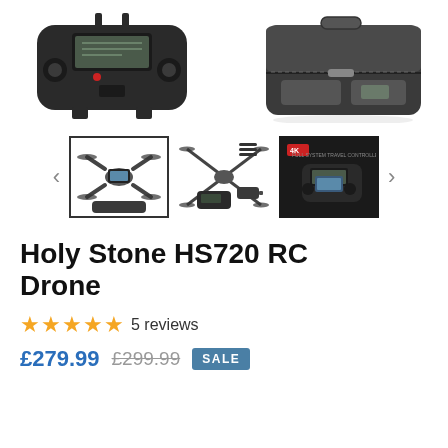[Figure (photo): Two product images side by side: left shows a dark RC drone remote controller, right shows a drone carrying case/kit]
[Figure (photo): Product thumbnail carousel with three thumbnails: drone with carrying case, drone parts/accessories spread, and drone controller marketing image. Navigation arrows on left and right.]
Holy Stone HS720 RC Drone
★★★★★ 5 reviews
£279.99  £299.99  SALE